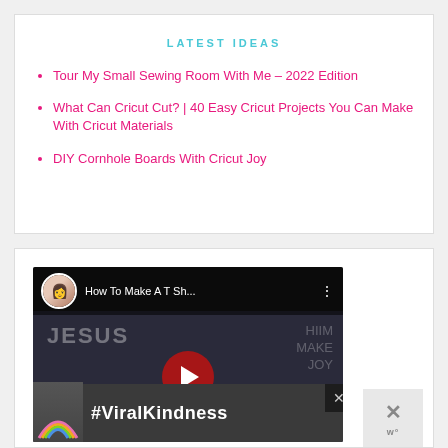LATEST IDEAS
Tour My Small Sewing Room With Me – 2022 Edition
What Can Cricut Cut? | 40 Easy Cricut Projects You Can Make With Cricut Materials
DIY Cornhole Boards With Cricut Joy
[Figure (screenshot): YouTube video thumbnail for 'How To Make A T Sh...' with play button overlay and JESUS text visible in background]
[Figure (infographic): Advertisement banner showing rainbow graphic and #ViralKindness text with close buttons]